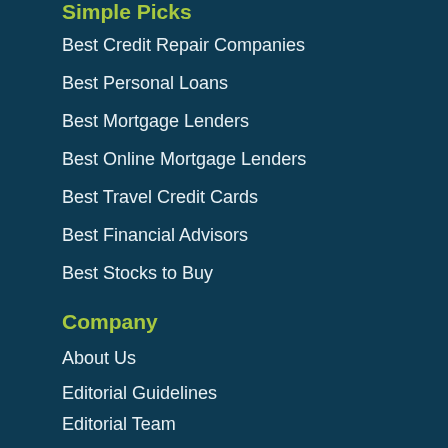Simple Picks
Best Credit Repair Companies
Best Personal Loans
Best Mortgage Lenders
Best Online Mortgage Lenders
Best Travel Credit Cards
Best Financial Advisors
Best Stocks to Buy
Company
About Us
Editorial Guidelines
Editorial Team
Financial Review Board
Privacy Policy